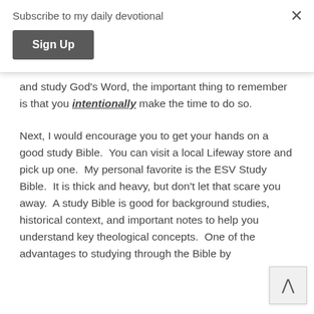Subscribe to my daily devotional
Sign Up
and study God's Word, the important thing to remember is that you intentionally make the time to do so.
Next, I would encourage you to get your hands on a good study Bible.  You can visit a local Lifeway store and pick up one.  My personal favorite is the ESV Study Bible.  It is thick and heavy, but don't let that scare you away.  A study Bible is good for background studies, historical context, and important notes to help you understand key theological concepts.  One of the advantages to studying through the Bible by